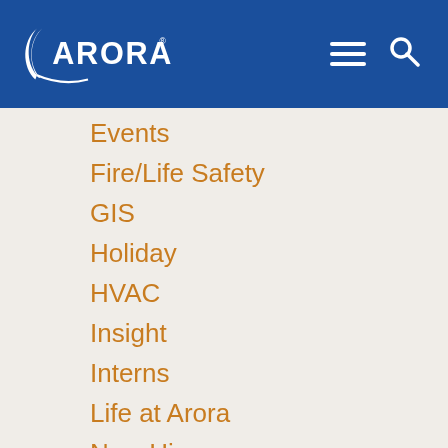[Figure (logo): Arora Engineers logo — white crescent arc with ARORA text in white on blue background header bar]
Events
Fire/Life Safety
GIS
Holiday
HVAC
Insight
Interns
Life at Arora
New Hires
News
Philanth… (partially visible)